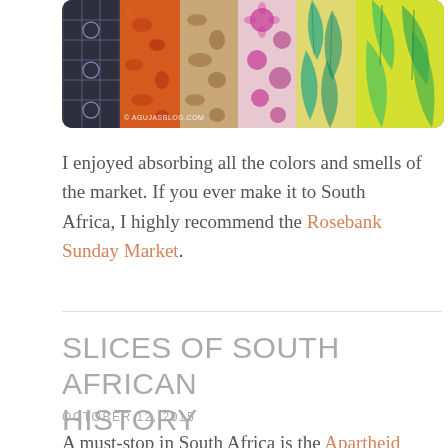[Figure (photo): Colorful rolled/folded fabrics with African patterns in various colors including orange, red, green, yellow, and dark blue, arranged side by side. Watermark reading '© AgujasBlog.com' visible at bottom left.]
I enjoyed absorbing all the colors and smells of the market. If you ever make it to South Africa, I highly recommend the Rosebank Sunday Market.
SLICES OF SOUTH AFRICAN HISTORY
OCTOBER 12, 2015
A must-stop in South Africa is the Apartheid Museum. As